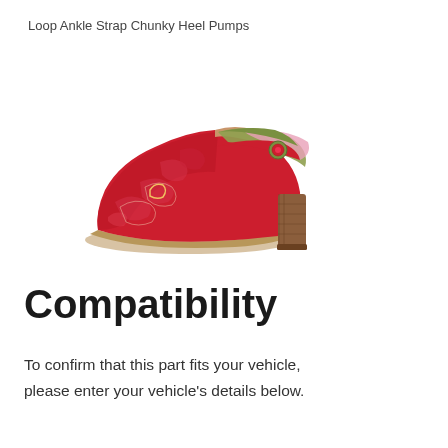Loop Ankle Strap Chunky Heel Pumps
[Figure (photo): Red floral-embossed chunky heel Mary Jane pump shoe with ankle strap and green/pink decorative panel with red button closure, brown stacked heel, beige interior]
Compatibility
To confirm that this part fits your vehicle, please enter your vehicle's details below.